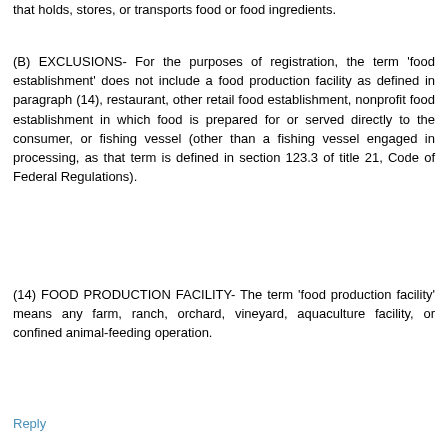that holds, stores, or transports food or food ingredients.
(B) EXCLUSIONS- For the purposes of registration, the term 'food establishment' does not include a food production facility as defined in paragraph (14), restaurant, other retail food establishment, nonprofit food establishment in which food is prepared for or served directly to the consumer, or fishing vessel (other than a fishing vessel engaged in processing, as that term is defined in section 123.3 of title 21, Code of Federal Regulations).
(14) FOOD PRODUCTION FACILITY- The term 'food production facility' means any farm, ranch, orchard, vineyard, aquaculture facility, or confined animal-feeding operation.
Reply